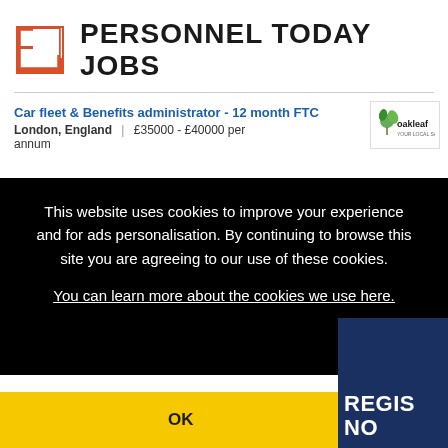[Figure (logo): Personnel Today Jobs logo with a square bracket icon in orange/red outline and bold text 'PERSONNEL TODAY JOBS']
Car fleet & Benefits administrator - 12 month FTC
London, England | £35000 - £40000 per annum
[Figure (logo): Oakleaf company logo badge]
This website uses cookies to improve your experience and for ads personalisation. By continuing to browse this site you are agreeing to our use of these cookies.
You can learn more about the cookies we use here.
OK
REGIS NO